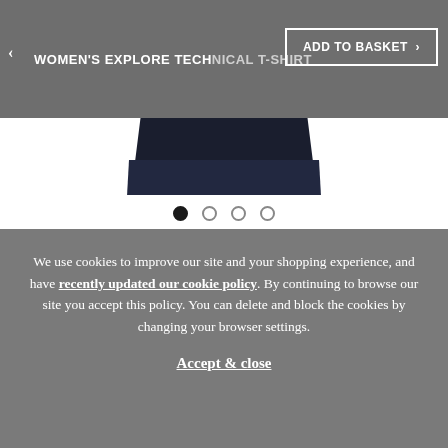[Figure (screenshot): Screenshot of a women's technical t-shirt product page showing partial navy blue t-shirt image with navigation bar and cookie consent overlay]
WOMEN'S EXPLORE TECHNICAL T-SHIRT
ADD TO BASKET
We use cookies to improve our site and your shopping experience, and have recently updated our cookie policy. By continuing to browse our site you accept this policy. You can delete and block the cookies by changing your browser settings.
Accept & close